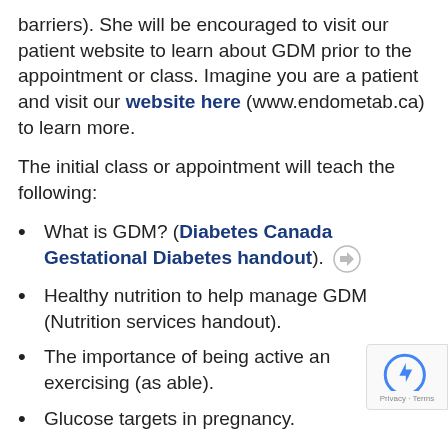barriers). She will be encouraged to visit our patient website to learn about GDM prior to the appointment or class. Imagine you are a patient and visit our website here (www.endometab.ca) to learn more.
The initial class or appointment will teach the following:
What is GDM? (Diabetes Canada Gestational Diabetes handout).
Healthy nutrition to help manage GDM (Nutrition services handout).
The importance of being active and exercising (as able).
Glucose targets in pregnancy.